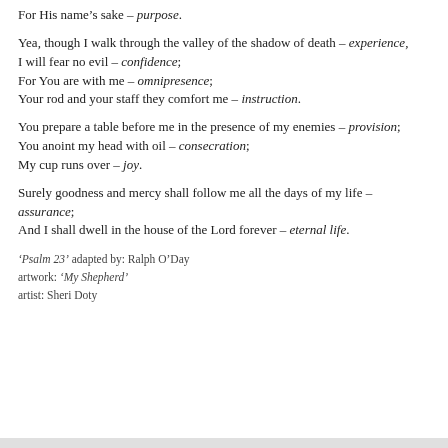For His name's sake – purpose.
Yea, though I walk through the valley of the shadow of death – experience, I will fear no evil – confidence; For You are with me – omnipresence; Your rod and your staff they comfort me – instruction.
You prepare a table before me in the presence of my enemies – provision; You anoint my head with oil – consecration; My cup runs over – joy.
Surely goodness and mercy shall follow me all the days of my life – assurance; And I shall dwell in the house of the Lord forever – eternal life.
'Psalm 23' adapted by: Ralph O'Day
artwork: 'My Shepherd'
artist: Sheri Doty